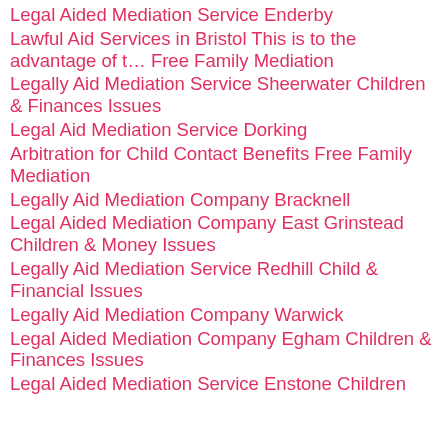Legal Aided Mediation Service Enderby
Lawful Aid Services in Bristol This is to the advantage of t… Free Family Mediation
Legally Aid Mediation Service Sheerwater Children & Finances Issues
Legal Aid Mediation Service Dorking
Arbitration for Child Contact Benefits Free Family Mediation
Legally Aid Mediation Company Bracknell
Legal Aided Mediation Company East Grinstead Children & Money Issues
Legally Aid Mediation Service Redhill Child & Financial Issues
Legally Aid Mediation Company Warwick
Legal Aided Mediation Company Egham Children & Finances Issues
Legal Aided Mediation Service Enstone Children